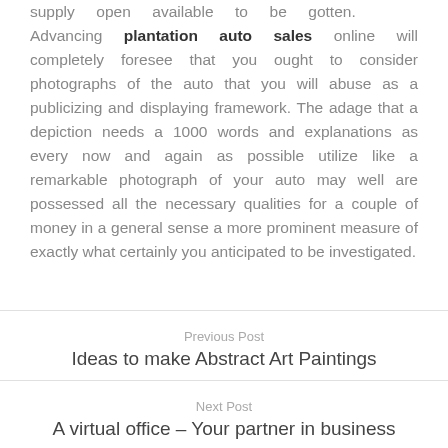supply open available to be gotten. Advancing plantation auto sales online will completely foresee that you ought to consider photographs of the auto that you will abuse as a publicizing and displaying framework. The adage that a depiction needs a 1000 words and explanations as every now and again as possible utilize like a remarkable photograph of your auto may well are possessed all the necessary qualities for a couple of money in a general sense a more prominent measure of exactly what certainly you anticipated to be investigated.
Previous Post
Ideas to make Abstract Art Paintings
Next Post
A virtual office – Your partner in business